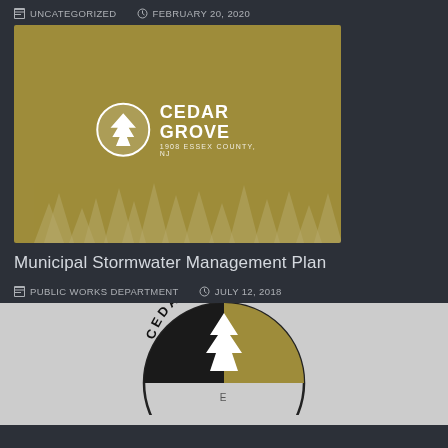UNCATEGORIZED   FEBRUARY 20, 2020
[Figure (logo): Cedar Grove 1908 Essex County NJ logo on gold/olive background with tree silhouettes]
Municipal Stormwater Management Plan
PUBLIC WORKS DEPARTMENT   JULY 12, 2018
[Figure (logo): Cedar Grove circular logo in black and gold with white tree, bottom of page on light gray background]